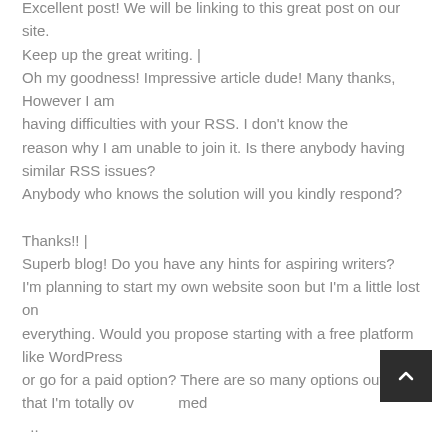Excellent post! We will be linking to this great post on our site.
Keep up the great writing. |
Oh my goodness! Impressive article dude! Many thanks, However I am having difficulties with your RSS. I don't know the
reason why I am unable to join it. Is there anybody having similar RSS issues?
Anybody who knows the solution will you kindly respond?

Thanks!! |
Superb blog! Do you have any hints for aspiring writers?
I'm planning to start my own website soon but I'm a little lost on
everything. Would you propose starting with a free platform like WordPress
or go for a paid option? There are so many options out there that I'm totally overwhelmed ..